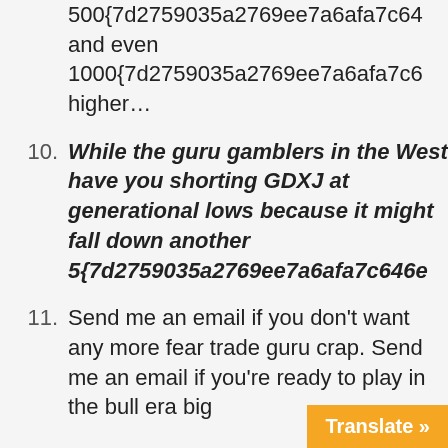(continuation) 500{7d2759035a2769ee7a6afa7c64... and even 1000{7d2759035a2769ee7a6afa7c6... higher...
10. While the guru gamblers in the West have you shorting GDXJ at generational lows because it might fall down another 5{7d2759035a2769ee7a6afa7c646e...
11. Send me an email if you don't want any more fear trade guru crap. Send me an email if you're ready to play in the bull era big...
Translate »